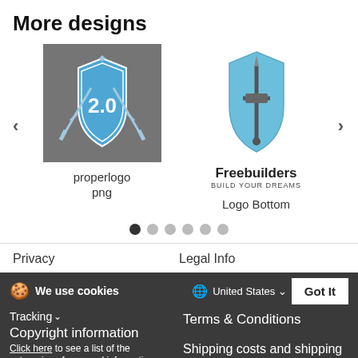More designs
[Figure (logo): Shield logo with crossed swords and '2.0' text on dark gray background]
properlogo png
[Figure (logo): Freebuilders shield logo - blue shield with sword, text 'Freebuilders BUILD YOUR DREAMS']
Logo Bottom
Privacy
Legal Info
Tracking
We use cookies
United States
Copyright information
Terms & Conditions
Click here to see a list of the categories of personal information we collect and what we use them for ("Notice at Collection").
Shipping costs and shipping times
Privacy Policy
Do Not Sell My Personal Information
By using this website, I agree to the Terms and Conditions